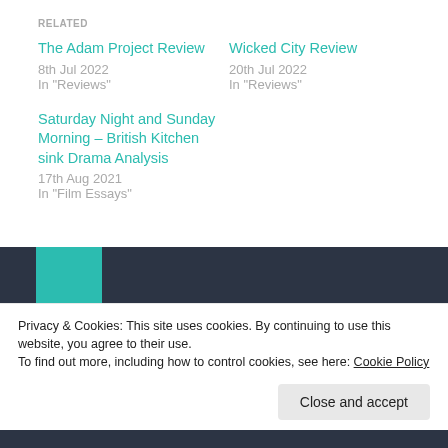RELATED
The Adam Project Review
8th Jul 2022
In "Reviews"
Wicked City Review
20th Jul 2022
In "Reviews"
Saturday Night and Sunday Morning – British Kitchen sink Drama Analysis
17th Aug 2021
In "Film Essays"
[Figure (screenshot): Dark navigation bar with teal block and purple avatar circle]
Privacy & Cookies: This site uses cookies. By continuing to use this website, you agree to their use.
To find out more, including how to control cookies, see here: Cookie Policy